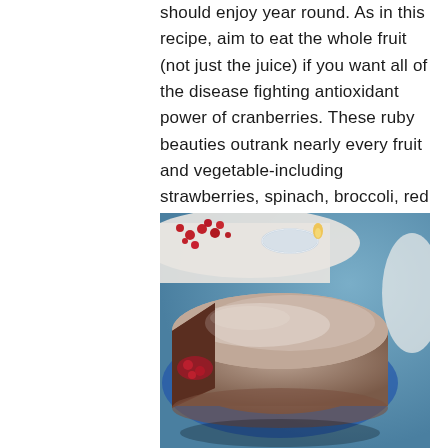should enjoy year round. As in this recipe, aim to eat the whole fruit (not just the juice) if you want all of the disease fighting antioxidant power of cranberries. These ruby beauties outrank nearly every fruit and vegetable-including strawberries, spinach, broccoli, red grapes, apples, raspberries, and cherries.
[Figure (photo): A round chocolate cake with a slice cut out showing a berry filling inside, dusted with powdered sugar. In the background there is a small glass bowl, a lit candle, and red berries on a white surface, with a blue background.]